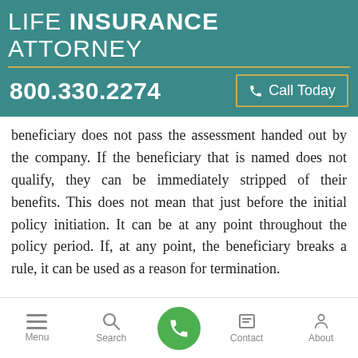LIFE INSURANCE ATTORNEY
800.330.2274
Call Today
beneficiary does not pass the assessment handed out by the company. If the beneficiary that is named does not qualify, they can be immediately stripped of their benefits. This does not mean that just before the initial policy initiation. It can be at any point throughout the policy period. If, at any point, the beneficiary breaks a rule, it can be used as a reason for termination.
Menu  Search  Contact  About